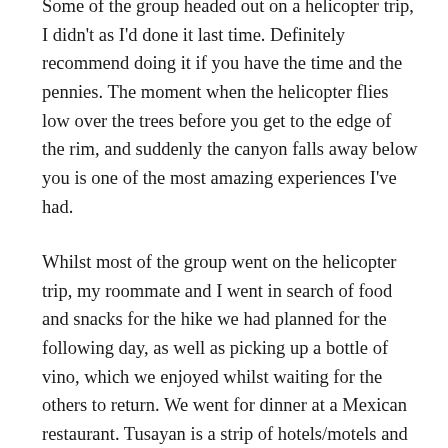Some of the group headed out on a helicopter trip, I didn't as I'd done it last time. Definitely recommend doing it if you have the time and the pennies. The moment when the helicopter flies low over the trees before you get to the edge of the rim, and suddenly the canyon falls away below you is one of the most amazing experiences I've had.
Whilst most of the group went on the helicopter trip, my roommate and I went in search of food and snacks for the hike we had planned for the following day, as well as picking up a bottle of vino, which we enjoyed whilst waiting for the others to return. We went for dinner at a Mexican restaurant. Tusayan is a strip of hotels/motels and eateries, not heaps of choice (Mexican,